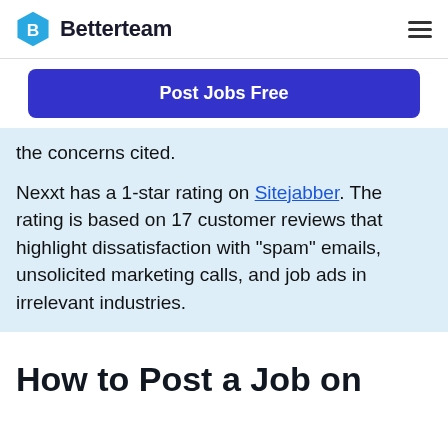Betterteam
Post Jobs Free
the concerns cited.
Nexxt has a 1-star rating on Sitejabber. The rating is based on 17 customer reviews that highlight dissatisfaction with "spam" emails, unsolicited marketing calls, and job ads in irrelevant industries.
How to Post a Job on